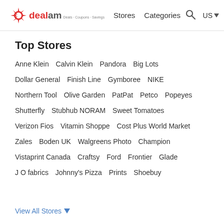dealam | Stores  Categories  US
Top Stores
Anne Klein  Calvin Klein  Pandora  Big Lots
Dollar General  Finish Line  Gymboree  NIKE
Northern Tool  Olive Garden  PatPat  Petco  Popeyes
Shutterfly  Stubhub NORAM  Sweet Tomatoes
Verizon Fios  Vitamin Shoppe  Cost Plus World Market
Zales  Boden UK  Walgreens Photo  Champion
Vistaprint Canada  Craftsy  Ford  Frontier  Glade
J O fabrics  Johnny's Pizza  Prints  Shoebuy
View All Stores ▾